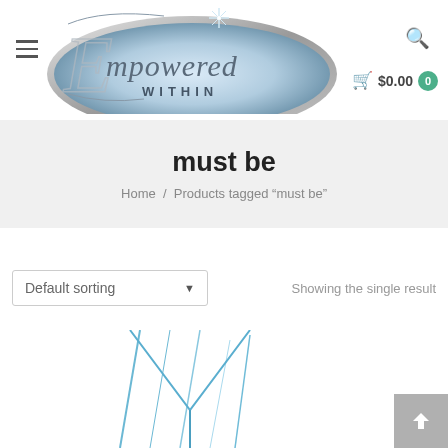[Figure (logo): Empowered Within logo — silver oval with blue gradient, decorative script E and cursive 'Empowered WITHIN' text, sparkle star on top]
must be
Home / Products tagged “must be”
Default sorting
Showing the single result
[Figure (illustration): Partial product image showing thin blue branch-like lines on a white background (bottom of page, cropped)]